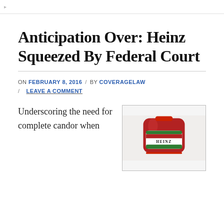Anticipation Over: Heinz Squeezed By Federal Court
ON FEBRUARY 8, 2016 / BY COVERAGELAW / LEAVE A COMMENT
Underscoring the need for complete candor when
[Figure (photo): Heinz ketchup bottle close-up photo showing red ketchup bottle with label]